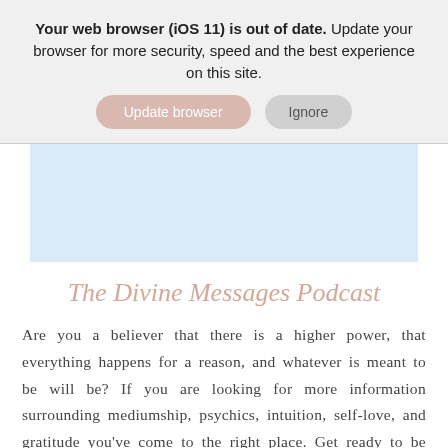Your web browser (iOS 11) is out of date. Update your browser for more security, speed and the best experience on this site.
Update browser | Ignore
[Figure (other): Light blue rectangular image placeholder area]
The Divine Messages Podcast
Are you a believer that there is a higher power, that everything happens for a reason, and whatever is meant to be will be? If you are looking for more information surrounding mediumship, psychics, intuition, self-love, and gratitude you've come to the right place. Get ready to be inspired to pursue your energy healing journey with The Divine Messa